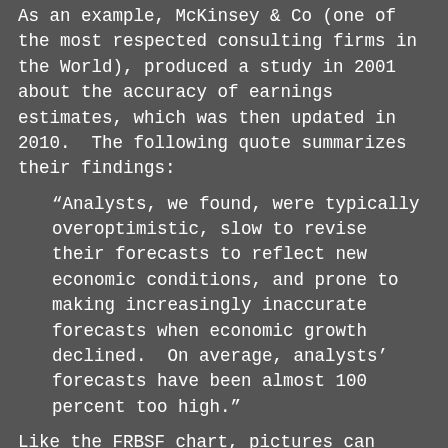As an example, McKinsey & Co (one of the most respected consulting firms in the World), produced a study in 2001 about the accuracy of earnings estimates, which was then updated in 2010.  The following quote summarizes their findings:
“Analysts, we found, were typically overoptimistic, slow to revise their forecasts to reflect new economic conditions, and prone to making increasingly inaccurate forecasts when economic growth declined.  On average, analysts’ forecasts have been almost 100 percent too high.”
Like the FRBSF chart, pictures can speak louder than words.  In the chart below, the light green line represents Wall Street